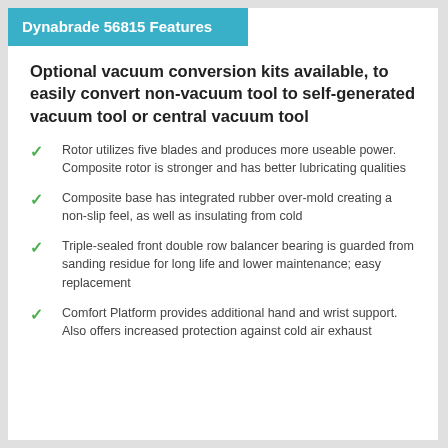Dynabrade 56815 Features
Optional vacuum conversion kits available, to easily convert non-vacuum tool to self-generated vacuum tool or central vacuum tool
Rotor utilizes five blades and produces more useable power. Composite rotor is stronger and has better lubricating qualities
Composite base has integrated rubber over-mold creating a non-slip feel, as well as insulating from cold
Triple-sealed front double row balancer bearing is guarded from sanding residue for long life and lower maintenance; easy replacement
Comfort Platform provides additional hand and wrist support. Also offers increased protection against cold air exhaust